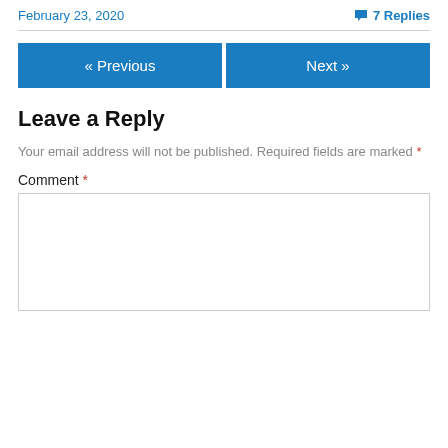February 23, 2020
7 Replies
« Previous
Next »
Leave a Reply
Your email address will not be published. Required fields are marked *
Comment *